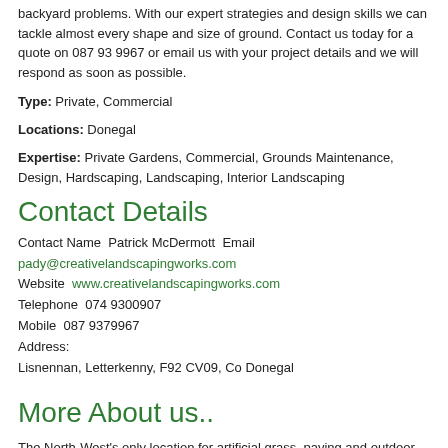backyard problems. With our expert strategies and design skills we can tackle almost every shape and size of ground. Contact us today for a quote on 087 93 9967 or email us with your project details and we will respond as soon as possible.
Type: Private, Commercial
Locations: Donegal
Expertise: Private Gardens, Commercial, Grounds Maintenance, Design, Hardscaping, Landscaping, Interior Landscaping
Contact Details
Contact Name  Patrick McDermott  Email  pady@creativelandscapingworks.com  Website  www.creativelandscapingworks.com  Telephone  074 9300907  Mobile  087 9379967  Address:  Lisnennan, Letterkenny, F92 CV09, Co Donegal
More About us..
The North-West's only location for artificial grass, paving and outdoor play equipment.